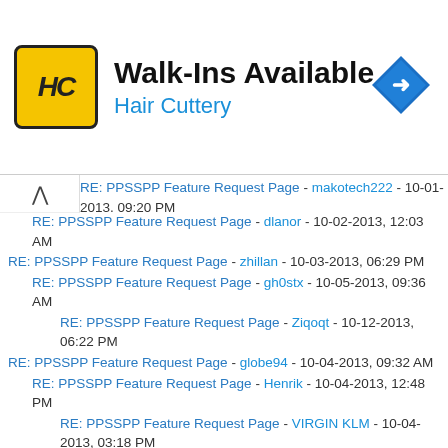[Figure (infographic): Hair Cuttery advertisement banner: logo (HC in yellow square), Walk-Ins Available heading, Hair Cuttery subtitle in blue, blue navigation arrow icon on right]
RE: PPSSPP Feature Request Page - makotech222 - 10-01-2013, 09:20 PM
RE: PPSSPP Feature Request Page - dlanor - 10-02-2013, 12:03 AM
RE: PPSSPP Feature Request Page - zhillan - 10-03-2013, 06:29 PM
RE: PPSSPP Feature Request Page - gh0stx - 10-05-2013, 09:36 AM
RE: PPSSPP Feature Request Page - Ziqoqt - 10-12-2013, 06:22 PM
RE: PPSSPP Feature Request Page - globe94 - 10-04-2013, 09:32 AM
RE: PPSSPP Feature Request Page - Henrik - 10-04-2013, 12:48 PM
RE: PPSSPP Feature Request Page - VIRGIN KLM - 10-04-2013, 03:18 PM
RE: PPSSPP Feature Request Page - Ritori - 10-04-2013, 02:04 PM
RE: PPSSPP Feature Request Page - VIRGIN KLM - 10-05-2013, 02:25 PM
RE: PPSSPP Feature Request Page - Tabman - 10-08-2013, 01:12 PM
RE: PPSSPP Feature Request Page - geronmls - 10-11-2013, 01:11